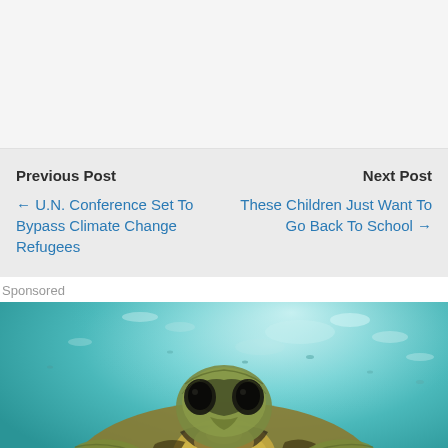Previous Post
Next Post
← U.N. Conference Set To Bypass Climate Change Refugees
These Children Just Want To Go Back To School →
Sponsored
[Figure (photo): Underwater photo of a sea turtle swimming near the surface, viewed from above/front, with turquoise water and light filtering through the surface in the background.]